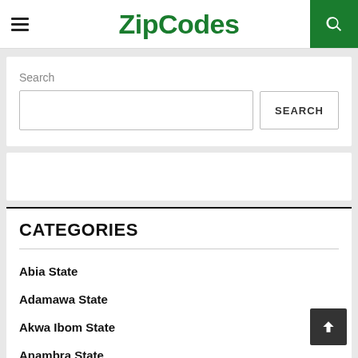ZipCodes
Search
[Figure (screenshot): Search input box and SEARCH button]
[Figure (screenshot): Advertisement banner area (blank)]
CATEGORIES
Abia State
Adamawa State
Akwa Ibom State
Anambra State